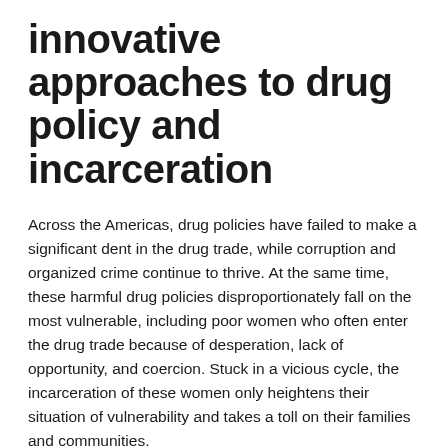innovative approaches to drug policy and incarceration
Across the Americas, drug policies have failed to make a significant dent in the drug trade, while corruption and organized crime continue to thrive. At the same time, these harmful drug policies disproportionately fall on the most vulnerable, including poor women who often enter the drug trade because of desperation, lack of opportunity, and coercion. Stuck in a vicious cycle, the incarceration of these women only heightens their situation of vulnerability and takes a toll on their families and communities.
Global Innovative Approaches highlights various programs and legal reforms from around the world that promote more effective and humane drug policies. The examples include